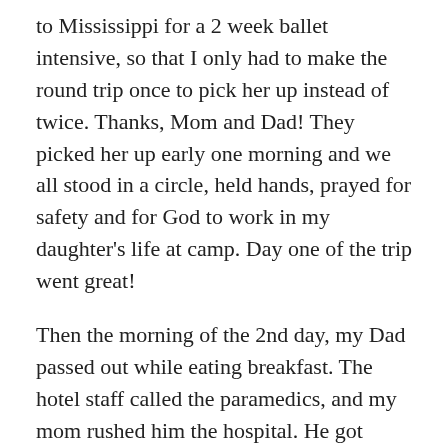to Mississippi for a 2 week ballet intensive, so that I only had to make the round trip once to pick her up instead of twice. Thanks, Mom and Dad! They picked her up early one morning and we all stood in a circle, held hands, prayed for safety and for God to work in my daughter's life at camp. Day one of the trip went great!
Then the morning of the 2nd day, my Dad passed out while eating breakfast. The hotel staff called the paramedics, and my mom rushed him the hospital. He got settled into his room in the ER and passed out again. Only this time, he not only passed out, he flatlined. I cannot even type that sentence without dissolving into tears. The nurses rushed in, brought him back, and what followed is unbelievable: the hospital my dad was